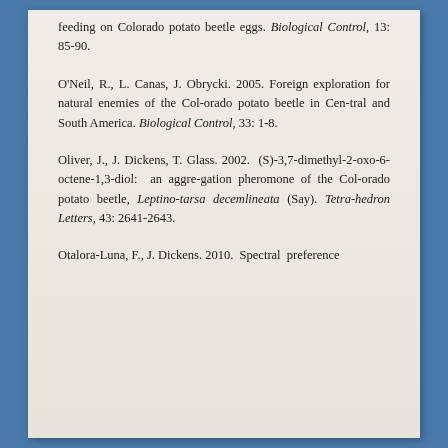feeding on Colorado potato beetle eggs. Biological Control, 13: 85-90.
O'Neil, R., L. Canas, J. Obrycki. 2005. Foreign exploration for natural enemies of the Colorado potato beetle in Central and South America. Biological Control, 33: 1-8.
Oliver, J., J. Dickens, T. Glass. 2002. (S)-3,7-dimethyl-2-oxo-6-octene-1,3-diol: an aggregation pheromone of the Colorado potato beetle, Leptinotarsa decemlineata (Say). Tetrahedron Letters, 43: 2641-2643.
Otalora-Luna, F., J. Dickens. 2010. Spectral preference